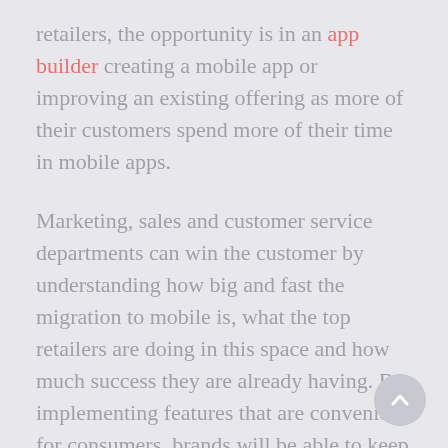retailers, the opportunity is in an app builder creating a mobile app or improving an existing offering as more of their customers spend more of their time in mobile apps.
Marketing, sales and customer service departments can win the customer by understanding how big and fast the migration to mobile is, what the top retailers are doing in this space and how much success they are already having. By implementing features that are convenient for consumers, brands will be able to keep the customer on their side for a long time to come.